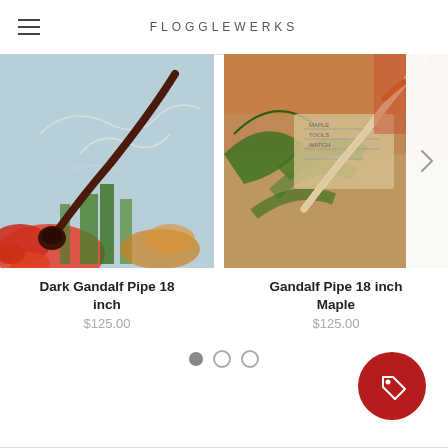FLOGGLEWERKS
[Figure (photo): Dark Gandalf Pipe 18 inch product photo — a dark wooden long-stemmed pipe resting on colorful fantasy artwork illustration]
Dark Gandalf Pipe 18 inch
$125.00
[Figure (photo): Gandalf Pipe 18 inch Maple product photo — a light maple wooden long-stemmed pipe resting on colorful tropical/fantasy artwork]
Gandalf Pipe 18 inch Maple
$125.00